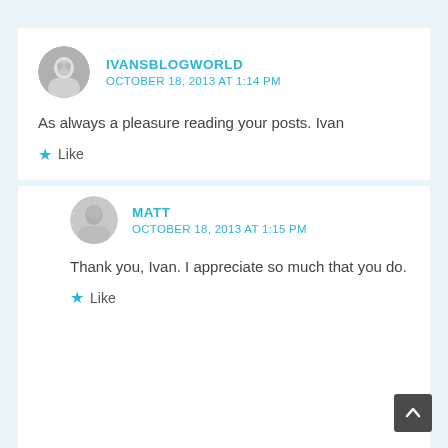IVANSBLOGWORLD
OCTOBER 18, 2013 AT 1:14 PM
As always a pleasure reading your posts. Ivan
Like
MATT
OCTOBER 18, 2013 AT 1:15 PM
Thank you, Ivan. I appreciate so much that you do.
Like